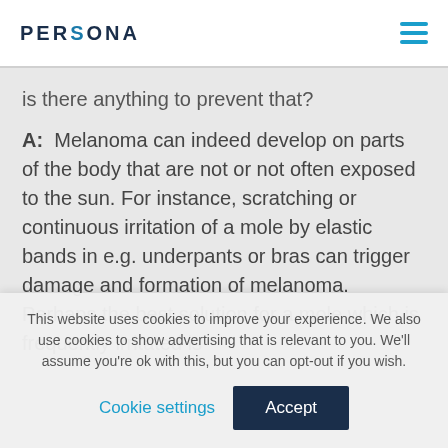PERSONA
is there anything to prevent that?
A:  Melanoma can indeed develop on parts of the body that are not or not often exposed to the sun. For instance, scratching or continuous irritation of a mole by elastic bands in e.g. underpants or bras can trigger damage and formation of melanoma. Perhaps the best solution for a mole which is frequently irritated is
This website uses cookies to improve your experience. We also use cookies to show advertising that is relevant to you. We'll assume you're ok with this, but you can opt-out if you wish.
Cookie settings   Accept